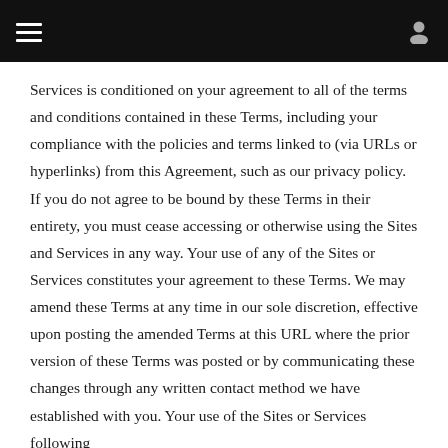Services is conditioned on your agreement to all of the terms and conditions contained in these Terms, including your compliance with the policies and terms linked to (via URLs or hyperlinks) from this Agreement, such as our privacy policy. If you do not agree to be bound by these Terms in their entirety, you must cease accessing or otherwise using the Sites and Services in any way. Your use of any of the Sites or Services constitutes your agreement to these Terms. We may amend these Terms at any time in our sole discretion, effective upon posting the amended Terms at this URL where the prior version of these Terms was posted or by communicating these changes through any written contact method we have established with you. Your use of the Sites or Services following